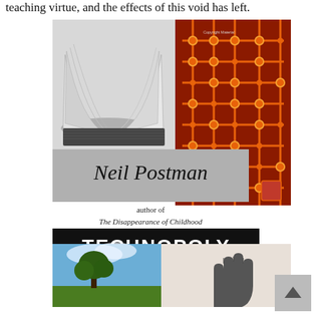teaching virtue, and the effects of this void has left.
[Figure (illustration): Book cover of 'Technopoly: The Surrender of Culture to Technology' by Neil Postman. The cover features a collage: top-left shows an open book in black and white, top-right shows an orange circuit board pattern on dark red, middle has a gray band with 'Neil Postman' in italic serif, below that 'author of The Disappearance of Childhood', then a black band with 'TECHNOPOLY' in bold white caps, then italic text 'The Surrender of Culture to Technology', then a gray box with a quote from Dallas Morning News, bottom-left shows a green landscape with a tree, bottom-right shows a hand silhouette.]